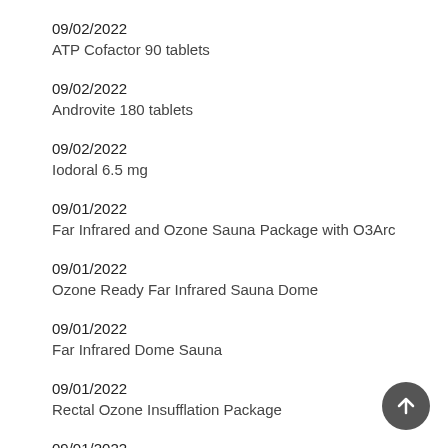09/02/2022
ATP Cofactor 90 tablets
09/02/2022
Androvite 180 tablets
09/02/2022
Iodoral 6.5 mg
09/01/2022
Far Infrared and Ozone Sauna Package with O3Arc
09/01/2022
Ozone Ready Far Infrared Sauna Dome
09/01/2022
Far Infrared Dome Sauna
09/01/2022
Rectal Ozone Insufflation Package
09/01/2022